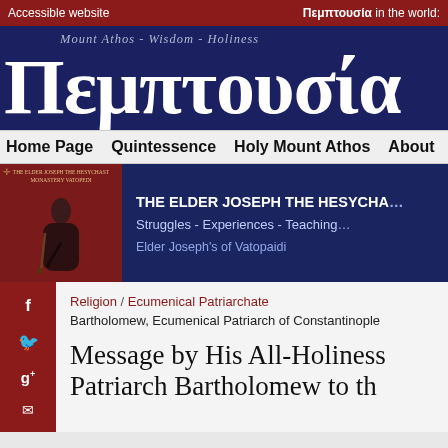Accessible website | Πεμπτουσία in the world:
[Figure (logo): Pemptousia logo with subtitle 'Mount Athos - Wisdom - Holiness' and large Greek-style text ΠΕΜΠΤΟΥΣΙΑ on navy background]
Home Page  Quintessence  Holy Mount Athos  About
[Figure (illustration): Book promo banner: image of elder monk on dark red background on left, navy area on right with title 'THE ELDER JOSEPH THE HESYCHAST', subtitle 'Struggles - Experiences - Teachings', and 'Elder Joseph's of Vatopaidi']
Religion / Ecumenical Patriarchate
Bartholomew, Ecumenical Patriarch of Constantinople
Message by His All-Holiness Patriarch Bartholomew to th